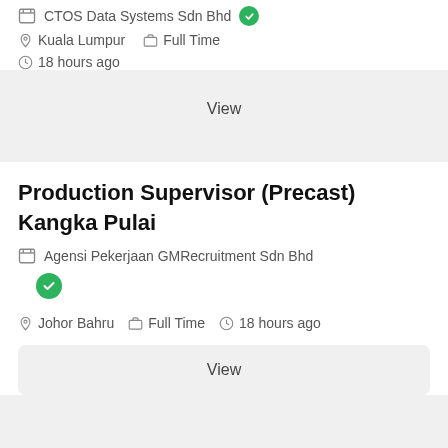CTOS Data Systems Sdn Bhd
Kuala Lumpur  Full Time
18 hours ago
View
Production Supervisor (Precast) Kangka Pulai
Agensi Pekerjaan GMRecruitment Sdn Bhd
Johor Bahru  Full Time  18 hours ago
View